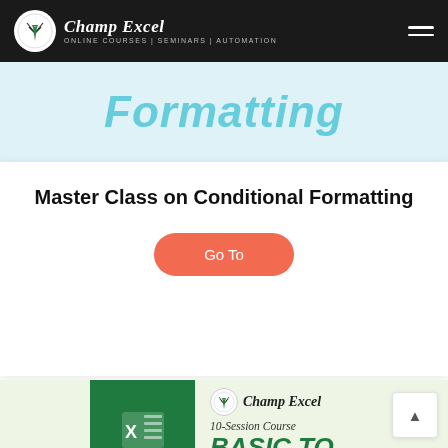Champ Excel — ONLINE COURSES | SEMINARS | AUTOMATION
[Figure (illustration): Light blue banner with partial italic text 'Formatting' in teal/cyan color]
Master Class on Conditional Formatting
Go To
[Figure (illustration): Course card with green ribbon bookmark, Excel icon, Champ Excel logo, '10-Session Course', 'BASIC TO ADVANCED' in green bold italic text on light green background]